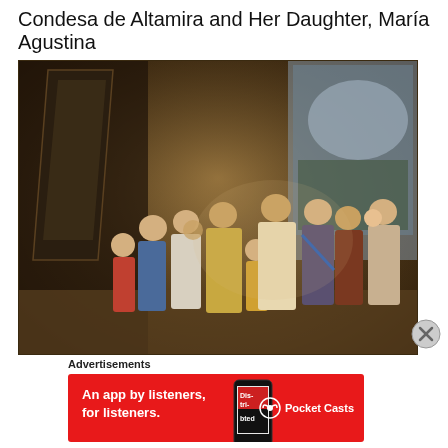Condesa de Altamira and Her Daughter, María Agustina
[Figure (photo): A classical oil painting showing a large noble family group portrait, believed to be by Goya. Multiple figures in 18th/19th century aristocratic dress are arranged in a formal interior setting. A large canvas is visible on the left side.]
Advertisements
[Figure (other): Advertisement banner for Pocket Casts app with red background. Text reads: 'An app by listeners, for listeners.' with Pocket Casts logo and a phone image showing 'Distributed' text.]